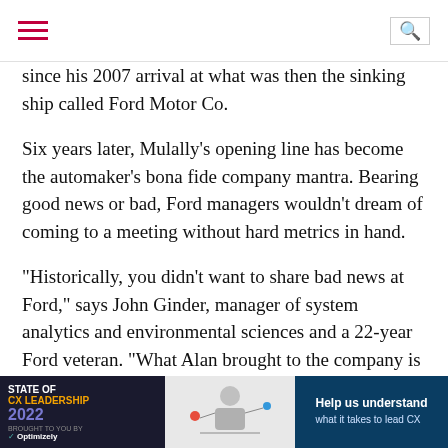[hamburger menu icon] [search icon]
since his 2007 arrival at what was then the sinking ship called Ford Motor Co.
Six years later, Mulally's opening line has become the automaker's bona fide company mantra. Bearing good news or bad, Ford managers wouldn't dream of coming to a meeting without hard metrics in hand.
"Historically, you didn't want to share bad news at Ford," says John Ginder, manager of system analytics and environmental sciences and a 22-year Ford veteran. "What Alan brought to the company is a mindset that we would no longer operate on anecdotal evidence. I've seen that explode in the past five or six years. Our CFO and COO are huge proponents. Today, it's all about having a data-driven perspective."
Indeed, data and analytics permeate every business move that Ford makes, from forecasting the price of commodities to figuring [AD] ll build, where it of cars
[Figure (screenshot): Advertisement banner: STATE OF CX LEADERSHIP 2022, BROUGHT TO YOU BY Optimizely, with an illustration and 'Help us understand what it takes to lead CX' text on blue background]